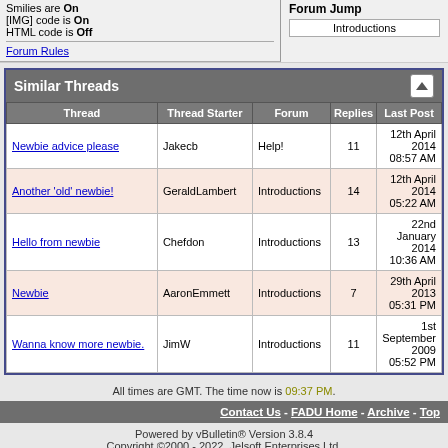Smilies are On
[IMG] code is On
HTML code is Off
Forum Rules
Forum Jump
Introductions
| Thread | Thread Starter | Forum | Replies | Last Post |
| --- | --- | --- | --- | --- |
| Newbie advice please | Jakecb | Help! | 11 | 12th April 2014 08:57 AM |
| Another 'old' newbie! | GeraldLambert | Introductions | 14 | 12th April 2014 05:22 AM |
| Hello from newbie | Chefdon | Introductions | 13 | 22nd January 2014 10:36 AM |
| Newbie | AaronEmmett | Introductions | 7 | 29th April 2013 05:31 PM |
| Wanna know more newbie. | JimW | Introductions | 11 | 1st September 2009 05:52 PM |
All times are GMT. The time now is 09:37 PM.
Contact Us - FADU Home - Archive - Top
Powered by vBulletin® Version 3.8.4
Copyright ©2000 - 2022, Jelsoft Enterprises Ltd.